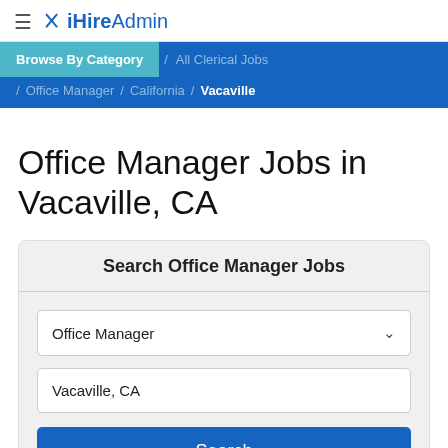≡ ✕ iHireAdmin
Browse By Category / All Clerical Jobs / Office Manager / California / Vacaville
Office Manager Jobs in Vacaville, CA
Search Office Manager Jobs
Office Manager
Vacaville, CA
Search